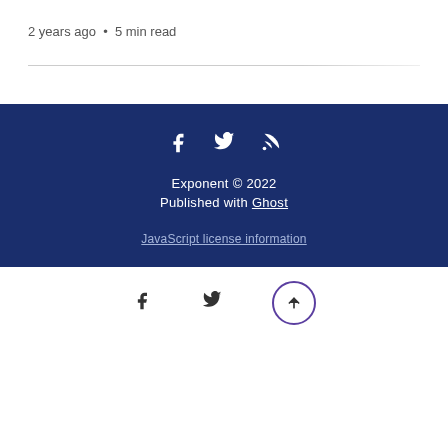2 years ago • 5 min read
Exponent © 2022
Published with Ghost
JavaScript license information